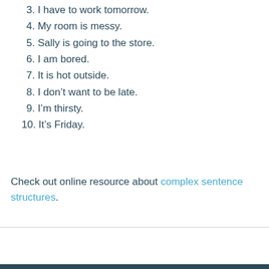3. I have to work tomorrow.
4. My room is messy.
5. Sally is going to the store.
6. I am bored.
7. It is hot outside.
8. I don’t want to be late.
9. I’m thirsty.
10. It’s Friday.
Check out online resource about complex sentence structures.